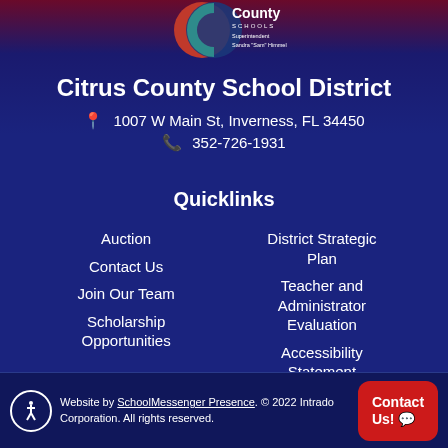[Figure (logo): Citrus County Schools logo with superintendent name Sandra 'Sam' Himmel]
Citrus County School District
1007 W Main St, Inverness, FL 34450
352-726-1931
Quicklinks
Auction
Contact Us
Join Our Team
Scholarship Opportunities
District Strategic Plan
Teacher and Administrator Evaluation
Accessibility Statement
Website by SchoolMessenger Presence. © 2022 Intrado Corporation. All rights reserved.